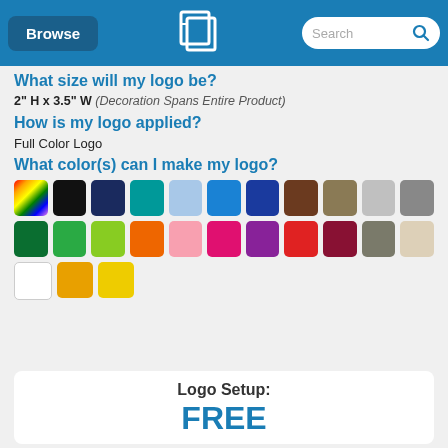Browse | [QLP Logo] | Search
What size will my logo be?
2" H x 3.5" W (Decoration Spans Entire Product)
How is my logo applied?
Full Color Logo
What color(s) can I make my logo?
[Figure (infographic): Grid of color swatches showing available logo colors: rainbow, black, navy, teal, light blue, blue, dark blue, brown, tan, light gray, gray; dark green, green, lime green, orange, pink, hot pink, purple, red, dark red, taupe, beige; white, gold/amber, yellow]
Logo Setup:
FREE